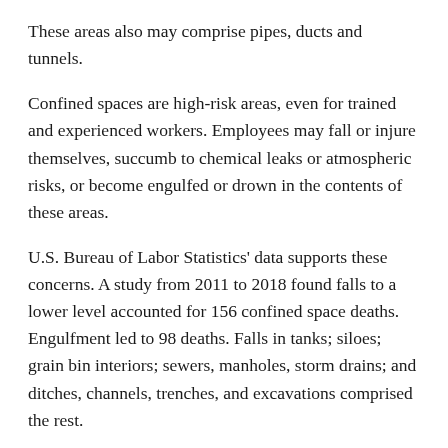These areas also may comprise pipes, ducts and tunnels.
Confined spaces are high-risk areas, even for trained and experienced workers. Employees may fall or injure themselves, succumb to chemical leaks or atmospheric risks, or become engulfed or drown in the contents of these areas.
U.S. Bureau of Labor Statistics' data supports these concerns. A study from 2011 to 2018 found falls to a lower level accounted for 156 confined space deaths. Engulfment led to 98 deaths. Falls in tanks; siloes; grain bin interiors; sewers, manholes, storm drains; and ditches, channels, trenches, and excavations comprised the rest.
2. Do you know the hazards that exist?
According to the U.S. Bureau of Labor Statistics, inhalation of harmful substances represented a top cause of death. The